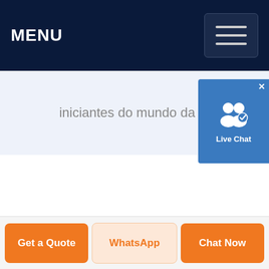MENU
[Figure (screenshot): Hamburger menu button (three horizontal lines) in the top-right of the dark navy navigation bar]
[Figure (screenshot): Live Chat widget — blue rounded square with two person icons and a checkmark, labeled 'Live Chat', with an X close button, overlaid on top-right]
iniciantes do mundo da …
Get a Quote
WhatsApp
Chat Now